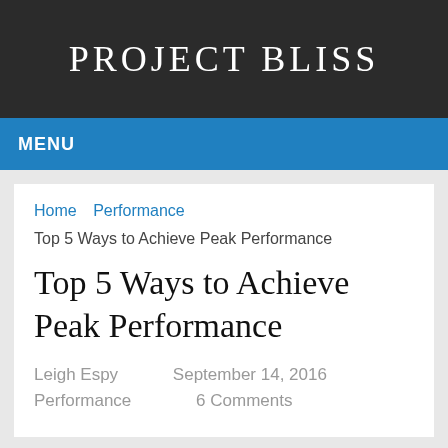PROJECT BLISS
MENU
Home   Performance
Top 5 Ways to Achieve Peak Performance
Top 5 Ways to Achieve Peak Performance
Leigh Espy   September 14, 2016
Performance   6 Comments